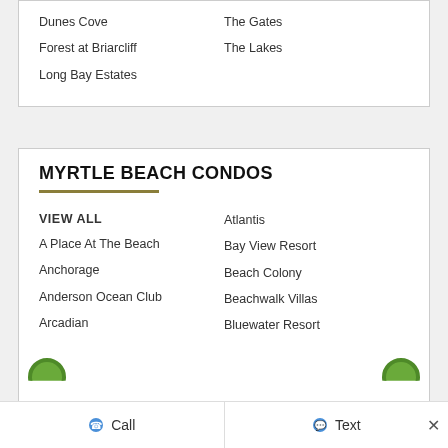Dunes Cove
Forest at Briarcliff
Long Bay Estates
The Gates
The Lakes
MYRTLE BEACH CONDOS
VIEW ALL
A Place At The Beach
Anchorage
Anderson Ocean Club
Arcadian
Atlantis
Bay View Resort
Beach Colony
Beachwalk Villas
Bluewater Resort
Call   Text